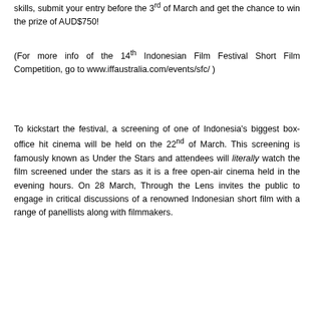skills, submit your entry before the 3rd of March and get the chance to win the prize of AUD$750!
(For more info of the 14th Indonesian Film Festival Short Film Competition, go to www.iffaustralia.com/events/sfc/ )
To kickstart the festival, a screening of one of Indonesia's biggest box-office hit cinema will be held on the 22nd of March. This screening is famously known as Under the Stars and attendees will literally watch the film screened under the stars as it is a free open-air cinema held in the evening hours. On 28 March, Through the Lens invites the public to engage in critical discussions of a renowned Indonesian short film with a range of panellists along with filmmakers.